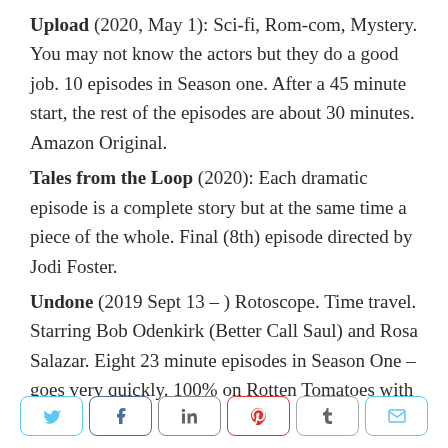Upload (2020, May 1): Sci-fi, Rom-com, Mystery. You may not know the actors but they do a good job. 10 episodes in Season one. After a 45 minute start, the rest of the episodes are about 30 minutes. Amazon Original.
Tales from the Loop (2020): Each dramatic episode is a complete story but at the same time a piece of the whole. Final (8th) episode directed by Jodi Foster.
Undone (2019 Sept 13 – ) Rotoscope. Time travel. Starring Bob Odenkirk (Better Call Saul) and Rosa Salazar. Eight 23 minute episodes in Season One – goes very quickly. 100% on Rotten Tomatoes with 48